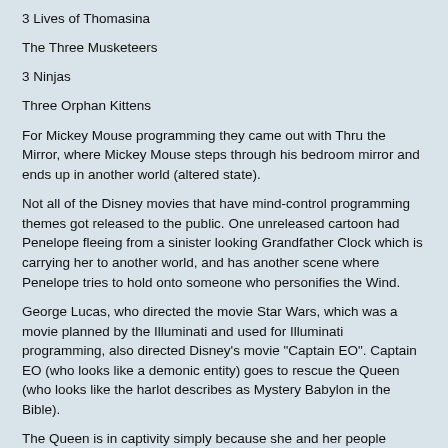3 Lives of Thomasina
The Three Musketeers
3 Ninjas
Three Orphan Kittens
For Mickey Mouse programming they came out with Thru the Mirror, where Mickey Mouse steps through his bedroom mirror and ends up in another world (altered state).
Not all of the Disney movies that have mind-control programming themes got released to the public. One unreleased cartoon had Penelope fleeing from a sinister looking Grandfather Clock which is carrying her to another world, and has another scene where Penelope tries to hold onto someone who personifies the Wind.
George Lucas, who directed the movie Star Wars, which was a movie planned by the Illuminati and used for Illuminati programming, also directed Disney's movie "Captain EO". Captain EO (who looks like a demonic entity) goes to rescue the Queen (who looks like the harlot describes as Mystery Babylon in the Bible).
The Queen is in captivity simply because she and her people believe in